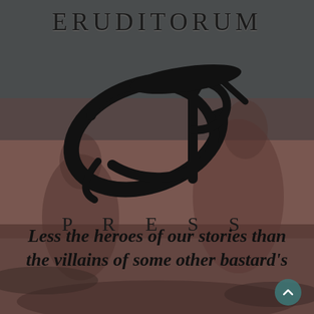[Figure (logo): Eruditorum Press logo: stylized 'EP' calligraphic monogram in black over a muted dark background with classical figures]
ERUDITORUM
PRESS
Less the heroes of our stories than the villains of some other bastard's